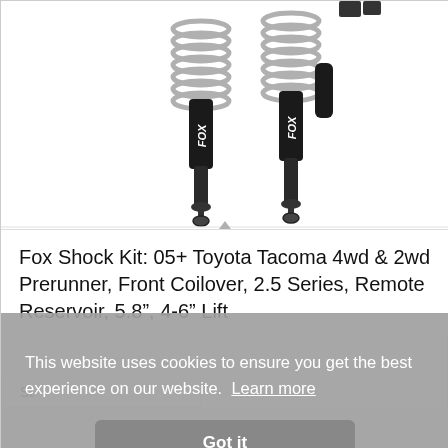[Figure (photo): Product photo of Fox shock absorbers / coilovers with remote reservoirs for Toyota Tacoma, shown on white background. Multiple shock units visible with silver coil springs and black bodies labeled Fox.]
Fox Shock Kit: 05+ Toyota Tacoma 4wd & 2wd Prerunner, Front Coilover, 2.5 Series, Remote Reservoir, 5.8”, 4-6” Lift
St
This website uses cookies to ensure you get the best experience on our website. Learn more
Got it
[Figure (photo): Partial product photo at bottom showing black shock absorber components on white/grey background.]